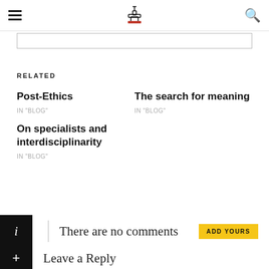Navigation header with hamburger menu, logo, and search icon
RELATED
Post-Ethics
IN "BLOG"
The search for meaning
IN "BLOG"
On specialists and interdisciplinarity
IN "BLOG"
There are no comments
ADD YOURS
Leave a Reply